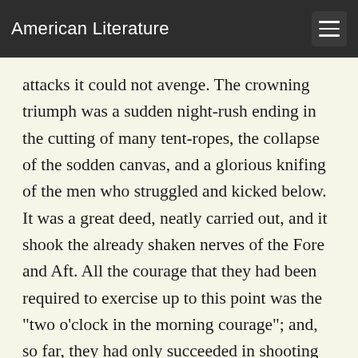American Literature
attacks it could not avenge. The crowning triumph was a sudden night-rush ending in the cutting of many tent-ropes, the collapse of the sodden canvas, and a glorious knifing of the men who struggled and kicked below. It was a great deed, neatly carried out, and it shook the already shaken nerves of the Fore and Aft. All the courage that they had been required to exercise up to this point was the "two o'clock in the morning courage"; and, so far, they had only succeeded in shooting their comrades and losing their sleep.
Sullen, discontented, cold, savage, sick, with their uniforms dulled and unclean, the Fore and Aft joined